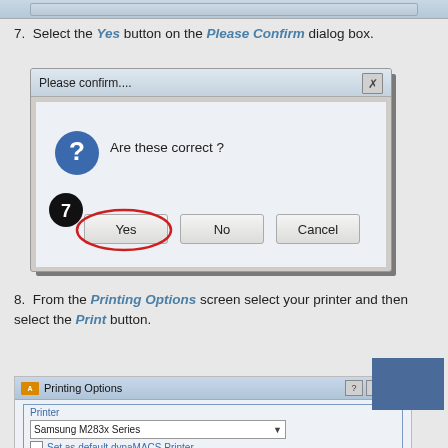[Figure (screenshot): Cropped top of a dialog/screen at the top of the page]
7.  Select the Yes button on the Please Confirm dialog box.
[Figure (screenshot): Screenshot of 'Please confirm....' dialog box with question mark icon, text 'Are these correct?', a step 7 badge, and three buttons: Yes (circled in red), No, Cancel.]
8.  From the Printing Options screen select your printer and then select the Print button.
[Figure (screenshot): Screenshot of Printing Options dialog box showing Printer section with Samsung M283x Series selected and 'Set as default dynaMACS Printer' option. Blue overlay in top-right corner.]